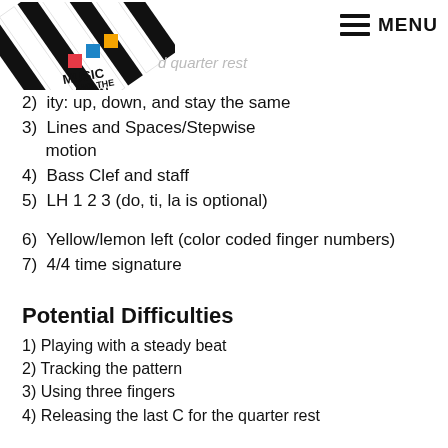[Figure (logo): Music and the Brain logo with black and white diagonal stripes and colorful blocks]
d quarter rest
2)  ity: up, down, and stay the same
3)  Lines and Spaces/Stepwise motion
4)  Bass Clef and staff
5)  LH 1 2 3 (do, ti, la is optional)
6)  Yellow/lemon left (color coded finger numbers)
7)  4/4 time signature
Potential Difficulties
1) Playing with a steady beat
2) Tracking the pattern
3) Using three fingers
4) Releasing the last C for the quarter rest